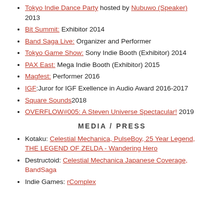Tokyo Indie Dance Party hosted by Nubuwo (Speaker) 2013
Bit Summit: Exhibitor 2014
Band Saga Live: Organizer and Performer
Tokyo Game Show: Sony Indie Booth (Exhibitor) 2014
PAX East: Mega Indie Booth (Exhibitor) 2015
Magfest: Performer 2016
IGF:Juror for IGF Exellence in Audio Award 2016-2017
Square Sounds2018
OVERFLOW#005: A Steven Universe Spectacular! 2019
MEDIA / PRESS
Kotaku: Celestial Mechanica, PulseBoy, 25 Year Legend, THE LEGEND OF ZELDA - Wandering Hero
Destructoid: Celestial Mechanica Japanese Coverage, BandSaga
Indie Games: rComplex